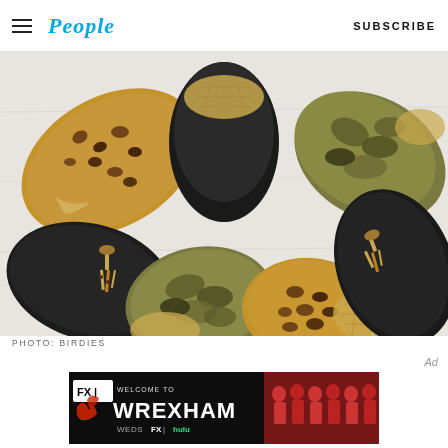People — SUBSCRIBE
[Figure (photo): Flat lay photo of multiple loafer/slipper shoes arranged in a fan/circle pattern, including leopard print, black suede with tassels, camouflage, and black suede styles, all with quilted gold/cream insoles, viewed from above on a white background.]
PHOTO: BIRDIES
[Figure (screenshot): Advertisement banner for FX 'Welcome to Wrexham' TV show — dark background with red dragon graphic on left, large white 'WREXHAM' text, team photo of players on right, text 'WEDS FX | hulu' in green/white.]